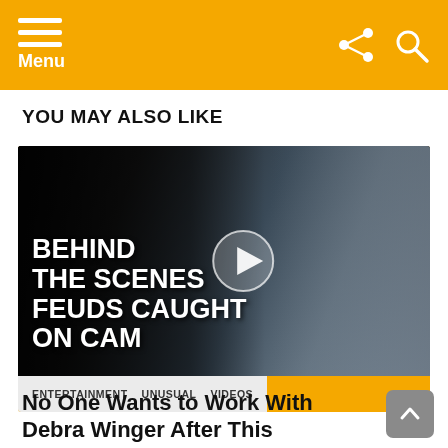Menu
YOU MAY ALSO LIKE
[Figure (screenshot): Video thumbnail showing two actors in a period drama scene with bold white text overlaid reading 'BEHIND THE SCENES FEUDS CAUGHT ON CAM' and a play button icon in the center. Below the image are category tags: ENTERTAINMENT, UNUSUAL, VIDEOS (with VIDEOS highlighted in orange).]
No One Wants to Work With Debra Winger After This